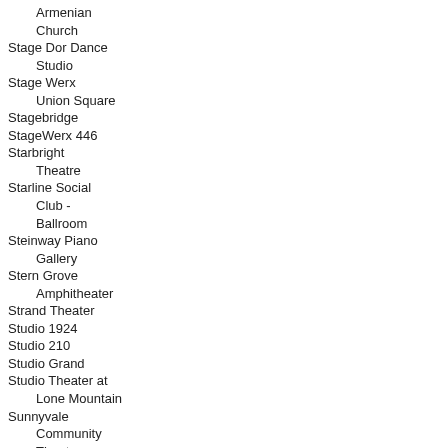Armenian Church
Stage Dor Dance Studio
Stage Werx Union Square
Stagebridge
StageWerx 446
Starbright Theatre
Starline Social Club - Ballroom
Steinway Piano Gallery
Stern Grove Amphitheater
Strand Theater
Studio 1924
Studio 210
Studio Grand
Studio Theater at Lone Mountain
Sunnyvale Community Theater
Suzie's Studio
Sydney Goldstein Theater
Taube Atrium Theater
Teatro ZinZanni's San Francisco Spiegeltent
Temescal Art Center
The 222 Performing Arts Center
The Annex
The Bakery at the